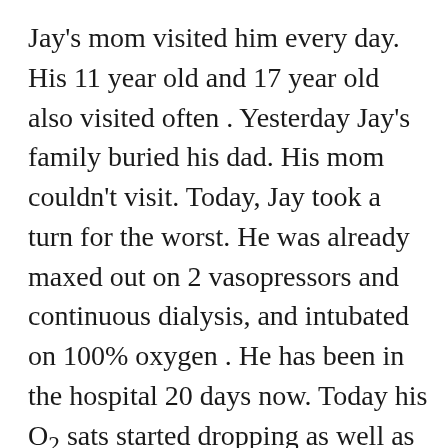Jay's mom visited him every day. His 11 year old and 17 year old also visited often . Yesterday Jay's family buried his dad. His mom couldn't visit. Today, Jay took a turn for the worst. He was already maxed out on 2 vasopressors and continuous dialysis, and intubated on 100% oxygen . He has been in the hospital 20 days now. Today his O2 sats started dropping as well as his blood pressure. We added more drips to try to increase his pressure. We tried other meds, we put in a chest tube. Nothing was working. The doctor called Jay's mom and told her she needed to come as soon as possible. She happened to be at the funeral home dropping off